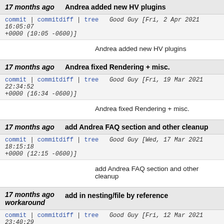17 months ago | Andrea added new HV plugins | commit | commitdiff | tree | Good Guy [Fri, 2 Apr 2021 16:05:07 +0000 (10:05 -0600)] | Andrea added new HV plugins
17 months ago | Andrea fixed Rendering + misc. | commit | commitdiff | tree | Good Guy [Fri, 19 Mar 2021 22:34:52 +0000 (16:34 -0600)] | Andrea fixed Rendering + misc.
17 months ago | add Andrea FAQ section and other cleanup | commit | commitdiff | tree | Good Guy [Wed, 17 Mar 2021 18:15:18 +0000 (12:15 -0600)] | add Andrea FAQ section and other cleanup
17 months ago workaround | add in nesting/file by reference | commit | commitdiff | tree | Good Guy [Fri, 12 Mar 2021 23:40:29 +0000 (16:40 -0700)]